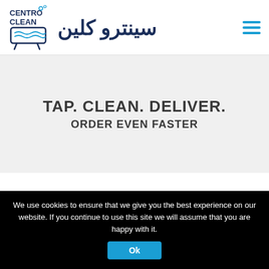[Figure (logo): Centro Clean logo with Arabic text سينترو كلين and hamburger menu icon]
TAP. CLEAN. DELIVER.
ORDER EVEN FASTER
We use cookies to ensure that we give you the best experience on our website. If you continue to use this site we will assume that you are happy with it.